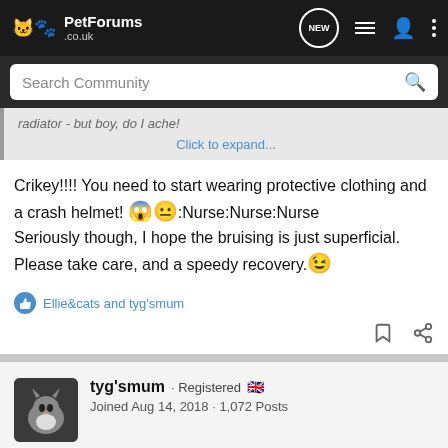PetForums .co.uk
Search Community
radiator - but boy, do I ache!
Click to expand...
Crikey!!!! You need to start wearing protective clothing and a crash helmet! 😱😐:Nurse:Nurse:Nurse
Seriously though, I hope the bruising is just superficial. Please take care, and a speedy recovery.😉
Ellie&cats and tyg'smum
tyg'smum · Registered 🇬🇧
Joined Aug 14, 2018 · 1,072 Posts